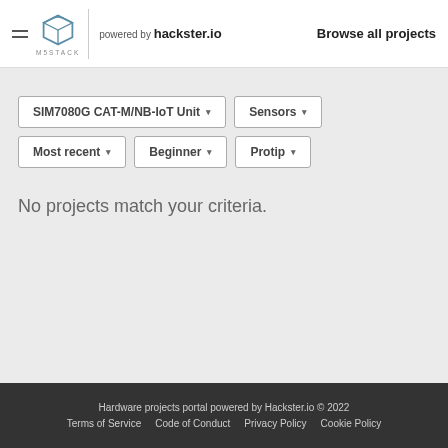M5STACK powered by hackster.io — Browse all projects
SIM7080G CAT-M/NB-IoT Unit ▾   Sensors ▾
Most recent ▾   Beginner ▾   Protip ▾
No projects match your criteria.
Hardware projects portal powered by Hackster.io © 2022   Terms of Service   Code of Conduct   Privacy Policy   Cookie Policy